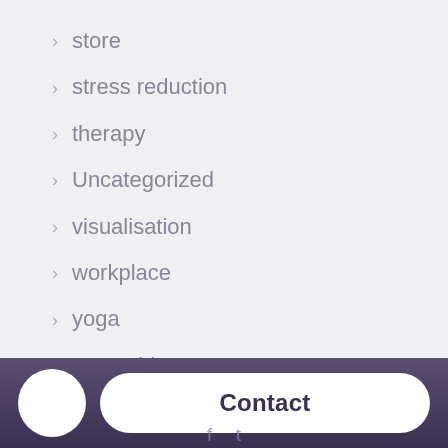store
stress reduction
therapy
Uncategorized
visualisation
workplace
yoga
yoga nidra
Contact